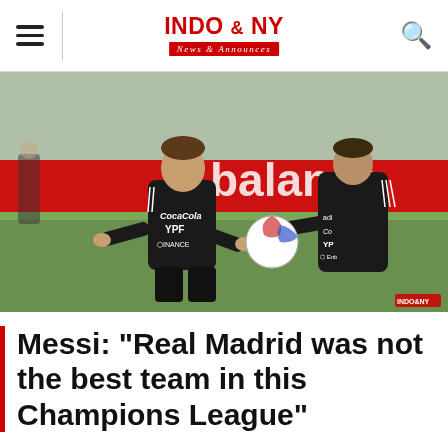INDO & NY News & Announces
[Figure (photo): Two football players in black Argentina national team jerseys (with Coca-Cola, YPF, Binance sponsor logos) training on a grass pitch. The taller player in the foreground gestures with hands open, facing another player who holds a football. A red 'balance' sponsor banner is visible in the background.]
Messi: "Real Madrid was not the best team in this Champions League"